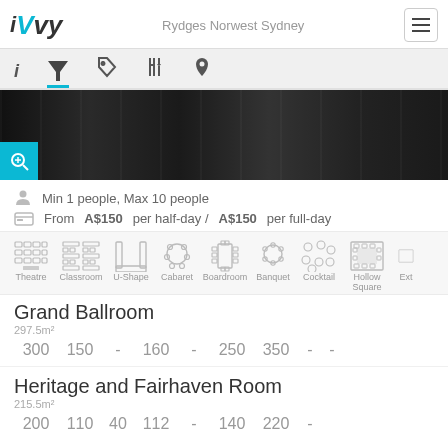iVvy — Rydges Norwest Sydney
[Figure (screenshot): Navigation tab icons: info, filter/cocktail (active, highlighted in teal), tag, cutlery, location pin]
[Figure (photo): Dark interior photo of a banquet/conference room with chairs and tables, with a teal zoom/search button overlay in the bottom-left corner]
Min 1 people, Max 10 people
From A$150 per half-day / A$150 per full-day
[Figure (infographic): Room layout icons: Theatre, Classroom, U-Shape, Cabaret, Boardroom, Banquet, Cocktail, Hollow Square, Ext (partially visible)]
Grand Ballroom
297.5m²
300  150  -  160  -  250  350  -  -
Heritage and Fairhaven Room
215.5m²
200  110  40  112  -  140  220  -